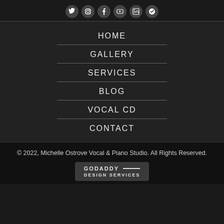[Figure (other): Row of social media icons (Twitter, Instagram, Facebook, YouTube, LinkedIn, Yelp) as circular dark buttons]
HOME
GALLERY
SERVICES
BLOG
VOCAL CD
CONTACT
© 2022, Michelle Ostrove Vocal & Piano Studio. All Rights Reserved.
[Figure (logo): GoDaddy Design Services badge/logo]